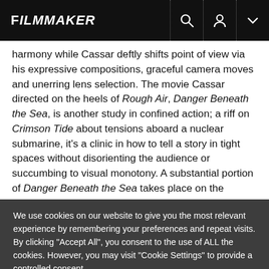FILMMAKER
harmony while Cassar deftly shifts point of view via his expressive compositions, graceful camera moves and unerring lens selection. The movie Cassar directed on the heels of Rough Air, Danger Beneath the Sea, is another study in confined action; a riff on Crimson Tide about tensions aboard a nuclear submarine, it's a clinic in how to tell a story in tight spaces without disorienting the audience or succumbing to visual monotony. A substantial portion of Danger Beneath the Sea takes place on the
We use cookies on our website to give you the most relevant experience by remembering your preferences and repeat visits. By clicking "Accept All", you consent to the use of ALL the cookies. However, you may visit "Cookie Settings" to provide a controlled consent.